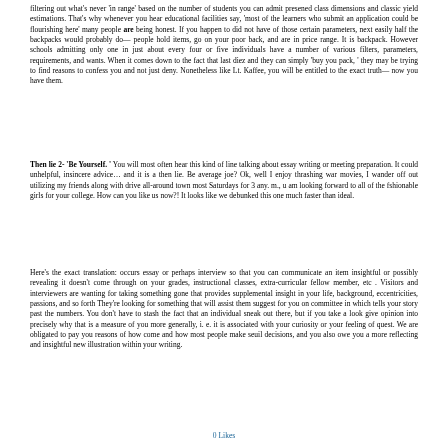filtering out what's never 'in range' based on the number of students you can admit presened class dimensions and classic yield estimations. That's why whenever you hear educational facilities say, 'most of the learners who submit an application could be flourishing here' many people are being honest. If you happen to did not have of those certain parameters, next easily half the backpacks would probably do— people hold items, go on your poor back, and are in price range. It is backpack. However schools admitting only one in just about every four or five individuals have a number of various filters, parameters, requirements, and wants. When it comes down to the fact that last diez and they can simply 'buy you pack, ' they may be trying to find reasons to confess you and not just deny. Nonetheless like Lt. Kaffee, you will be entitled to the exact truth— now you have them.
Then lie 2- 'Be Yourself. ' You will most often hear this kind of line talking about essay writing or meeting preparation. It could unhelpful, insincere advice… and it is a then lie. Be average joe? Ok, well I enjoy thrashing war movies, I wander off out utilizing my friends along with drive all-around town most Saturdays for 3 any. m., u am looking forward to all of the fshionable girls for your college. How can you like us now?! It looks like we debunked this one much faster than ideal.
Here's the exact translation: occurs essay or perhaps interview so that you can communicate an item insightful or possibly revealing it doesn't come through on your grades, instructional classes, extra-curricular fellow member, etc . Visitors and interviewers are wanting for taking something gone that provides supplemental insight in your life, background, eccentricities, passions, and so forth They're looking for something that will assist them suggest for you on committee in which tells your story past the numbers. You don't have to stash the fact that an individual sneak out there, but if you take a look give opinion into precisely why that is a measure of you more generally, i. e. it is associated with your curiosity or your feeling of quest. We are obligated to pay you reasons of how come and how most people make seuil decisions, and you also owe you a more reflecting and insightful new illustration within your writing.
0 Likes